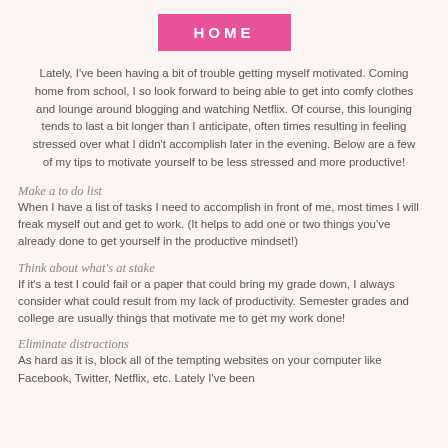HOME
Lately, I've been having a bit of trouble getting myself motivated. Coming home from school, I so look forward to being able to get into comfy clothes and lounge around blogging and watching Netflix. Of course, this lounging tends to last a bit longer than I anticipate, often times resulting in feeling stressed over what I didn't accomplish later in the evening. Below are a few of my tips to motivate yourself to be less stressed and more productive!
Make a to do list
When I have a list of tasks I need to accomplish in front of me, most times I will freak myself out and get to work. (It helps to add one or two things you've already done to get yourself in the productive mindset!)
Think about what's at stake
If it's a test I could fail or a paper that could bring my grade down, I always consider what could result from my lack of productivity. Semester grades and college are usually things that motivate me to get my work done!
Eliminate distractions
As hard as it is, block all of the tempting websites on your computer like Facebook, Twitter, Netflix, etc. Lately I've been setting all.erts to find distractions so that I can stay